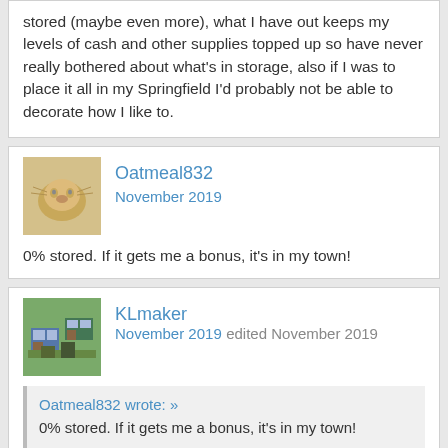stored (maybe even more), what I have out keeps my levels of cash and other supplies topped up so have never really bothered about what's in storage, also if I was to place it all in my Springfield I'd probably not be able to decorate how I like to.
Oatmeal832
November 2019

0% stored. If it gets me a bonus, it's in my town!
KLmaker
November 2019 edited November 2019

Oatmeal832 wrote: »
0% stored. If it gets me a bonus, it's in my town!

Agree.
As I'm only at 307% everything that makes it is out, as well as